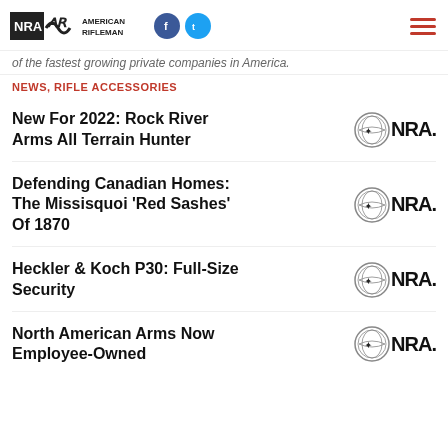NRA American Rifleman
of the fastest growing private companies in America.
NEWS, RIFLE ACCESSORIES
New For 2022: Rock River Arms All Terrain Hunter
Defending Canadian Homes: The Missisquoi 'Red Sashes' Of 1870
Heckler & Koch P30: Full-Size Security
North American Arms Now Employee-Owned